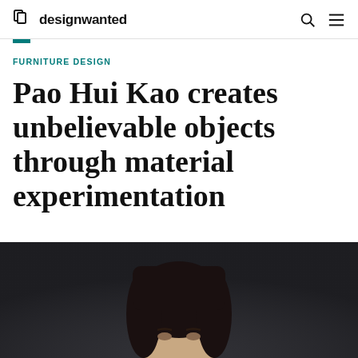designwanted
FURNITURE DESIGN
Pao Hui Kao creates unbelievable objects through material experimentation
[Figure (photo): Photo of a person (Pao Hui Kao) with dark hair against a dark background, cropped at lower portion of page]